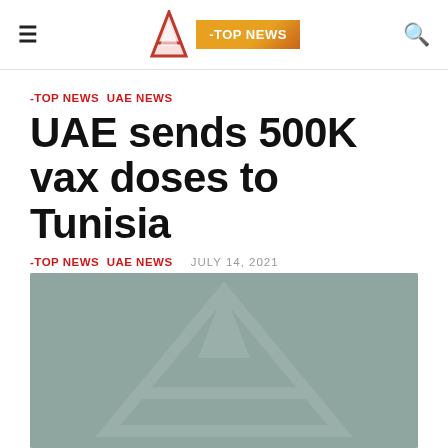≡  A  -TOP NEWS  🔍
-TOP NEWS UAE NEWS
UAE sends 500K vax doses to Tunisia
-TOP NEWS UAE NEWS   JULY 14, 2021
[Figure (logo): Gray placeholder image with large stylized 'A' logo watermark in lighter gray]